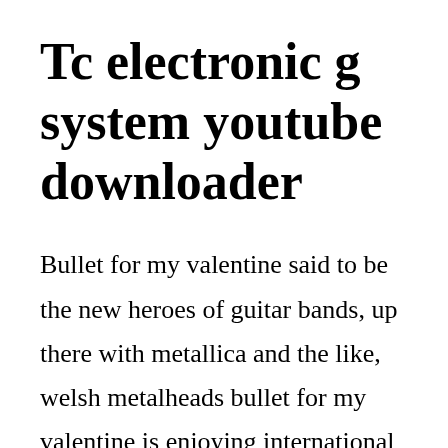Tc electronic g system youtube downloader
Bullet for my valentine said to be the new heroes of guitar bands, up there with metallica and the like, welsh metalheads bullet for my valentine is enjoying international success with soldout headline tours in europe, us, australia and japan. Gsystem does so much so well, it can be a bit intimidating. But possibly